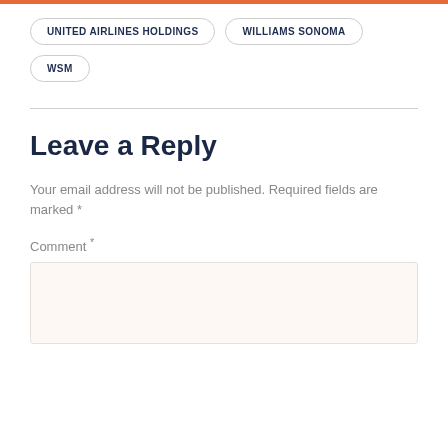UNITED AIRLINES HOLDINGS
WILLIAMS SONOMA
WSM
Leave a Reply
Your email address will not be published. Required fields are marked *
Comment *